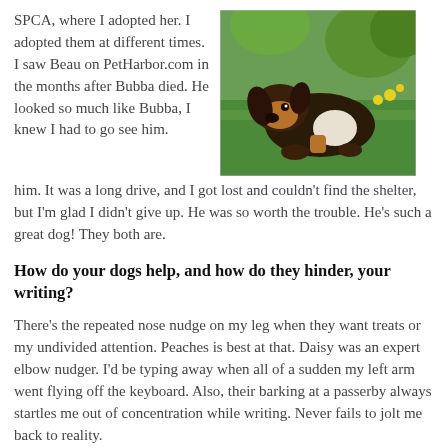SPCA, where I adopted her. I adopted them at different times. I saw Beau on PetHarbor.com in the months after Bubba died. He looked so much like Bubba, I knew I had to go see him. It was a long drive, and I got lost and couldn't find the shelter, but I'm glad I didn't give up. He was so worth the trouble. He's such a great dog! They both are.
[Figure (photo): A dog lying on green grass, appears to be a beagle or similar breed, photographed outdoors.]
How do your dogs help, and how do they hinder, your writing?
There's the repeated nose nudge on my leg when they want treats or my undivided attention. Peaches is best at that. Daisy was an expert elbow nudger. I'd be typing away when all of a sudden my left arm went flying off the keyboard. Also, their barking at a passerby always startles me out of concentration while writing. Never fails to jolt me back to reality.